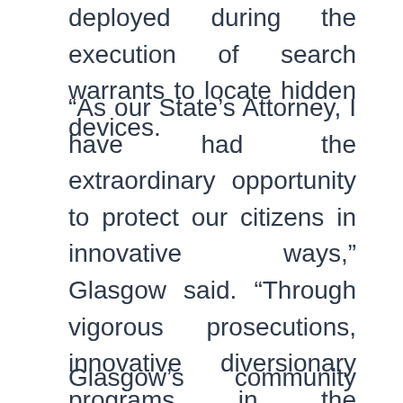deployed during the execution of search warrants to locate hidden devices.
“As our State’s Attorney, I have had the extraordinary opportunity to protect our citizens in innovative ways,” Glasgow said. “Through vigorous prosecutions, innovative diversionary programs in the courtroom, and partnerships in our community, I have worked tirelessly to make the State’s Attorney’s Office a conduit for positive change throughout Will County.”
Glasgow’s community initiatives include: